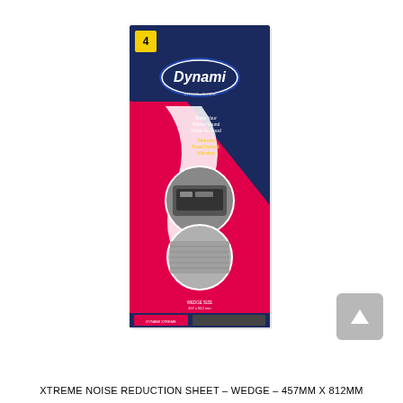[Figure (photo): Product photo of Dynami Xtreme Noise Reduction Sheet - Wedge, a tall narrow package with dark blue and pink/magenta colors, showing the Dynami logo, text about making your stereo sound better and reducing road noise and vibration, with circular inset images showing installation and material detail.]
XTREME NOISE REDUCTION SHEET - WEDGE - 457MM X 812MM